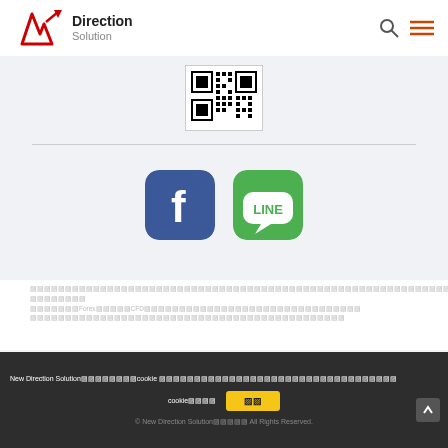New Direction Solution
[Figure (other): QR code image for Line or social media contact]
[Figure (other): Facebook and LINE social media icon buttons]
xxxxxxxxxxxxxxxxxxxxxxxxxxxxxxxxxxxxxxxxxxxxxxxxxxxxxxxxxxxxxxxxxxxxxxxxxxxxxxxx xxxxxxxx xxxxxxxxxxxxxxxForexxxxxxxxxCFDxxxxxxxxxxxxxxxxxxxxxxxxxxxxxxxxxxxxxxxxxxxxxxxx xxxxxxxxxxxxxxxxxxxxxxxxxxxxxxxxxxxxxxxxxxxxxxxxx
New Direction Solution xxxxxxxxxxxxxxxxcookie xxxxxxxxxxxxxxxxxxxxxxxxxxxxxxxxxxxxxxxxxxxxxxxxxx cookie xxxxx  oo  © New Direction Solution xxxxx All Rights Reserved.